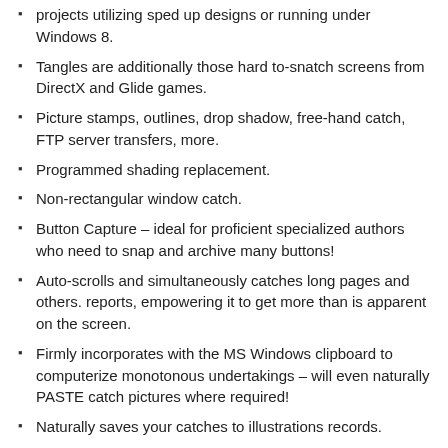projects utilizing sped up designs or running under Windows 8.
Tangles are additionally those hard to-snatch screens from DirectX and Glide games.
Picture stamps, outlines, drop shadow, free-hand catch, FTP server transfers, more.
Programmed shading replacement.
Non-rectangular window catch.
Button Capture – ideal for proficient specialized authors who need to snap and archive many buttons!
Auto-scrolls and simultaneously catches long pages and others. reports, empowering it to get more than is apparent on the screen.
Firmly incorporates with the MS Windows clipboard to computerize monotonous undertakings – will even naturally PASTE catch pictures where required!
Naturally saves your catches to illustrations records.
Serves as a viable picture watcher, design converter (north of 20 picture designs upheld).